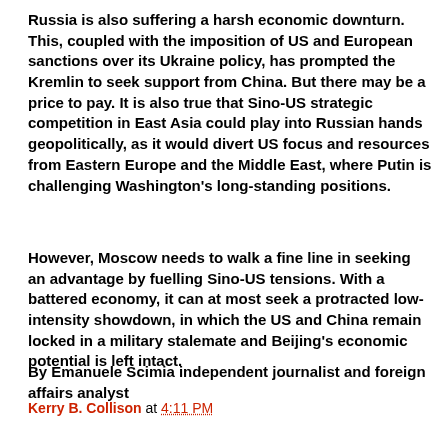Russia is also suffering a harsh economic downturn. This, coupled with the imposition of US and European sanctions over its Ukraine policy, has prompted the Kremlin to seek support from China. But there may be a price to pay. It is also true that Sino-US strategic competition in East Asia could play into Russian hands geopolitically, as it would divert US focus and resources from Eastern Europe and the Middle East, where Putin is challenging Washington's long-standing positions.
However, Moscow needs to walk a fine line in seeking an advantage by fuelling Sino-US tensions. With a battered economy, it can at most seek a protracted low-intensity showdown, in which the US and China remain locked in a military stalemate and Beijing's economic potential is left intact.
By Emanuele Scimia independent journalist and foreign affairs analyst
Kerry B. Collison at 4:11 PM
Share